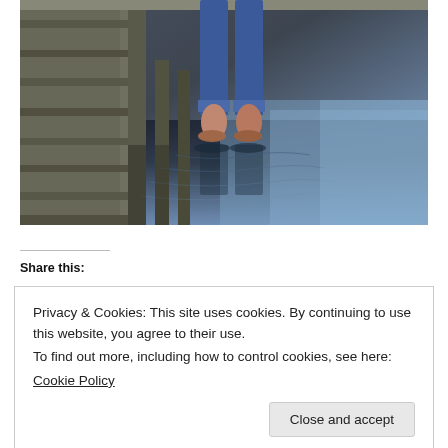[Figure (photo): Person standing barefoot at the edge of a wooden pier/dock with feet touching the water surface, jeans rolled up. Water reflections visible below. Wooden dock pillars visible on the left.]
Share this:
Privacy & Cookies: This site uses cookies. By continuing to use this website, you agree to their use.
To find out more, including how to control cookies, see here:
Cookie Policy